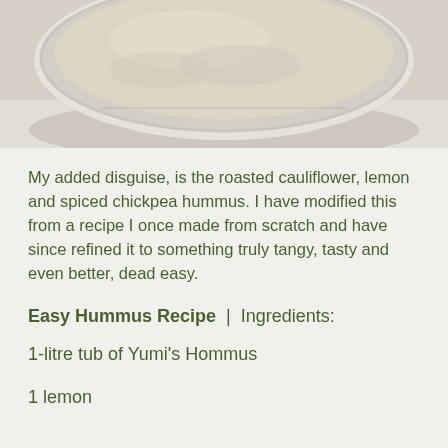[Figure (photo): Top-down view of a bowl of hummus in a clear plastic container, beige/cream colored dip visible]
My added disguise, is the roasted cauliflower, lemon and spiced chickpea hummus. I have modified this from a recipe I once made from scratch and have since refined it to something truly tangy, tasty and even better, dead easy.
Easy Hummus Recipe  |  Ingredients:
1-litre tub of Yumi's Hommus
1 lemon